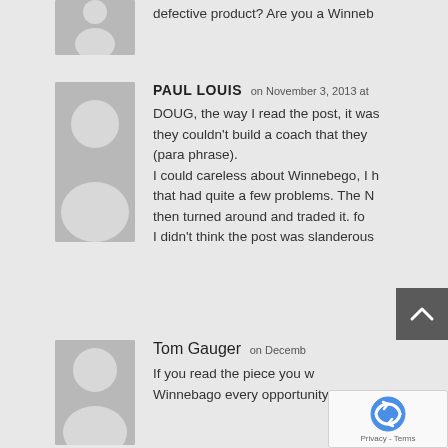[Figure (illustration): Partial avatar of previous commenter (top of page, cut off)]
defective product? Are you a Winneb
[Figure (illustration): Gray placeholder avatar silhouette for Paul Louis]
PAUL LOUIS on November 3, 2013 at
DOUG, the way I read the post, it was: they couldn't build a coach that they (para phrase).
I could careless about Winnebego, I h that had quite a few problems. The N then turned around and traded it. fo I didn't think the post was slanderous
[Figure (illustration): Gray placeholder avatar silhouette for Tom Gauger]
Tom Gauger on Decemb
If you read the piece you w Winnebago every opportunity to fix i